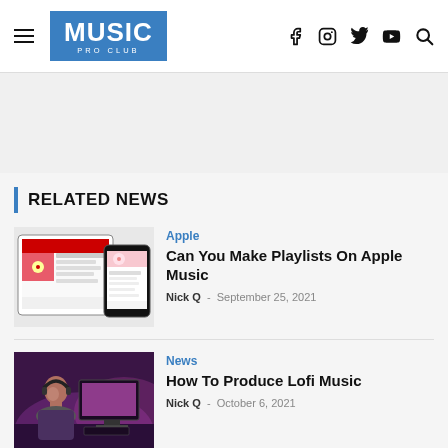MUSIC PRO CLUB
[Figure (screenshot): Music Pro Club website header with hamburger menu, blue logo box reading MUSIC PRO CLUB, and social media icons (Facebook, Instagram, Twitter, YouTube, Search)]
RELATED NEWS
[Figure (screenshot): Thumbnail showing Apple Music interface on tablet and phone devices]
Apple
Can You Make Playlists On Apple Music
Nick Q  -  September 25, 2021
[Figure (photo): Person with headphones working at computer with pink/purple lighting - lofi music production]
News
How To Produce Lofi Music
Nick Q  -  October 6, 2021